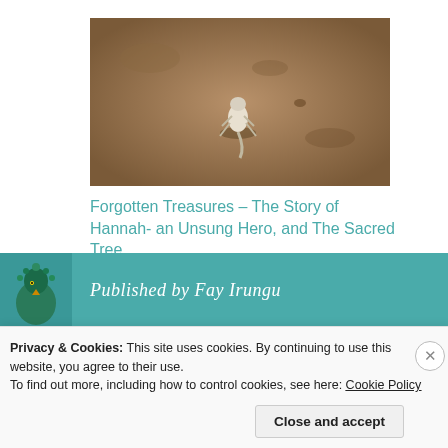[Figure (photo): A small animal (likely a squirrel or mongoose) photographed from above on sandy/dirt ground]
Forgotten Treasures – The Story of Hannah- an Unsung Hero, and The Sacred Tree
April 5, 2019
In "Feature Stories"
[Figure (photo): Teal banner with a circular avatar photo of a peacock/bird and italic script text reading 'Published by Fay Irungu']
Privacy & Cookies: This site uses cookies. By continuing to use this website, you agree to their use.
To find out more, including how to control cookies, see here: Cookie Policy
Close and accept